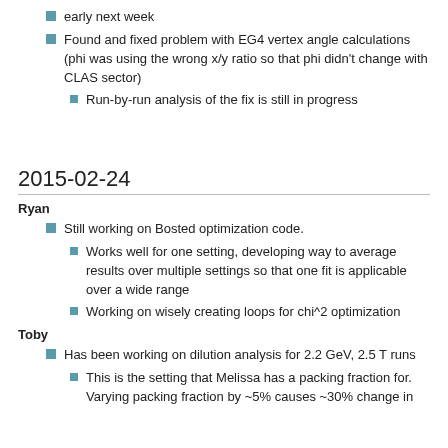early next week
Found and fixed problem with EG4 vertex angle calculations (phi was using the wrong x/y ratio so that phi didn't change with CLAS sector)
Run-by-run analysis of the fix is still in progress
2015-02-24
Ryan
Still working on Bosted optimization code.
Works well for one setting, developing way to average results over multiple settings so that one fit is applicable over a wide range
Working on wisely creating loops for chi^2 optimization
Toby
Has been working on dilution analysis for 2.2 GeV, 2.5 T runs
This is the setting that Melissa has a packing fraction for. Varying packing fraction by ~5% causes ~30% change in